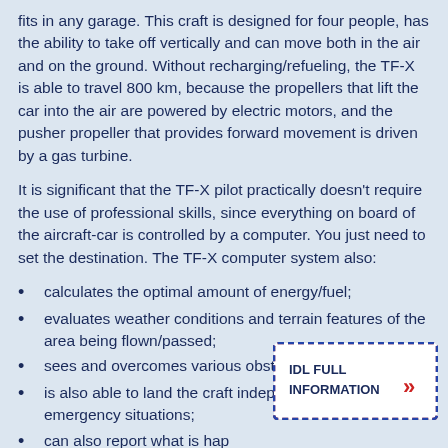fits in any garage. This craft is designed for four people, has the ability to take off vertically and can move both in the air and on the ground. Without recharging/refueling, the TF-X is able to travel 800 km, because the propellers that lift the car into the air are powered by electric motors, and the pusher propeller that provides forward movement is driven by a gas turbine.
It is significant that the TF-X pilot practically doesn't require the use of professional skills, since everything on board of the aircraft-car is controlled by a computer. You just need to set the destination. The TF-X computer system also:
calculates the optimal amount of energy/fuel;
evaluates weather conditions and terrain features of the area being flown/passed;
sees and overcomes various obstacles;
is also able to land the craft independently in emergency situations;
can also report what is hap...
[Figure (illustration): An envelope-shaped overlay box with dashed red and blue border, containing bold text 'IDL FULL INFORMATION' and a double chevron icon on the right.]